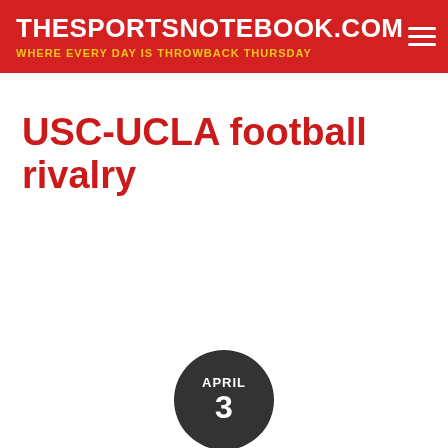THESPORTSNOTEBOOK.COM — WHERE EVERY DAY IS THROWBACK THURSDAY
USC-UCLA football rivalry
APRIL 3